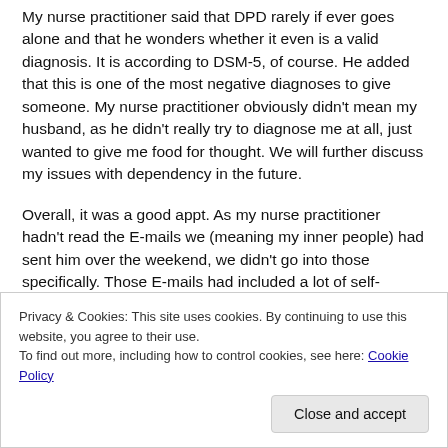My nurse practitioner said that DPD rarely if ever goes alone and that he wonders whether it even is a valid diagnosis. It is according to DSM-5, of course. He added that this is one of the most negative diagnoses to give someone. My nurse practitioner obviously didn't mean my husband, as he didn't really try to diagnose me at all, just wanted to give me food for thought. We will further discuss my issues with dependency in the future.
Overall, it was a good appt. As my nurse practitioner hadn't read the E-mails we (meaning my inner people) had sent him over the weekend, we didn't go into those specifically. Those E-mails had included a lot of self-loathing and self-doubt, including about our possible DID. I did explain...
Privacy & Cookies: This site uses cookies. By continuing to use this website, you agree to their use.
To find out more, including how to control cookies, see here: Cookie Policy